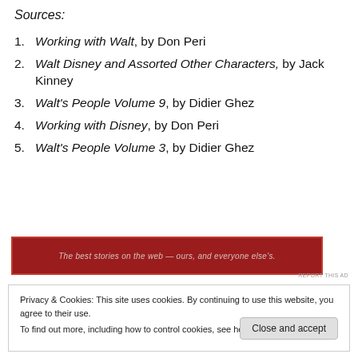Sources:
Working with Walt, by Don Peri
Walt Disney and Assorted Other Characters, by Jack Kinney
Walt's People Volume 9, by Didier Ghez
Working with Disney, by Don Peri
Walt's People Volume 3, by Didier Ghez
[Figure (screenshot): Red advertisement banner with white italic text: 'The best stories on the web — ours, and everyone else's.']
REPORT THIS AD
Privacy & Cookies: This site uses cookies. By continuing to use this website, you agree to their use.
To find out more, including how to control cookies, see here: Cookie Policy

Close and accept